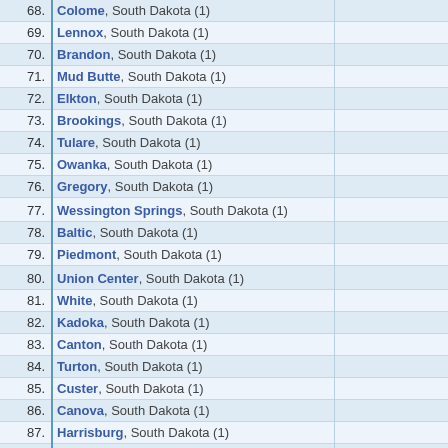| # | City |  |
| --- | --- | --- |
| 68. | Colome, South Dakota (1) |  |
| 69. | Lennox, South Dakota (1) |  |
| 70. | Brandon, South Dakota (1) |  |
| 71. | Mud Butte, South Dakota (1) |  |
| 72. | Elkton, South Dakota (1) |  |
| 73. | Brookings, South Dakota (1) |  |
| 74. | Tulare, South Dakota (1) |  |
| 75. | Owanka, South Dakota (1) |  |
| 76. | Gregory, South Dakota (1) |  |
| 77. | Wessington Springs, South Dakota (1) |  |
| 78. | Baltic, South Dakota (1) |  |
| 79. | Piedmont, South Dakota (1) |  |
| 80. | Union Center, South Dakota (1) |  |
| 81. | White, South Dakota (1) |  |
| 82. | Kadoka, South Dakota (1) |  |
| 83. | Canton, South Dakota (1) |  |
| 84. | Turton, South Dakota (1) |  |
| 85. | Custer, South Dakota (1) |  |
| 86. | Canova, South Dakota (1) |  |
| 87. | Harrisburg, South Dakota (1) |  |
| 88. | Pierre, South Dakota (1) |  |
| 89. | Hartford, South Dakota (1) |  |
| 90. | Carthage, South Dakota (1) |  |
| 91. | Dell Rapids, South Dakota (1) |  |
| 92. | Hitchcock, South Dakota (1) |  |